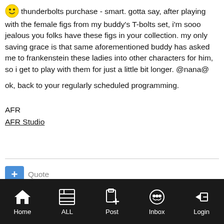thunderbolts purchase - smart. gotta say, after playing with the female figs from my buddy's T-bolts set, i'm sooo jealous you folks have these figs in your collection. my only saving grace is that same aforementioned buddy has asked me to frankenstein these ladies into other characters for him, so i get to play with them for just a little bit longer. @nana@
ok, back to your regularly scheduled programming.
AFR
AFR Studio
[Figure (other): Mobile navigation bar with icons for Home, ALL, Post, Inbox, Login]